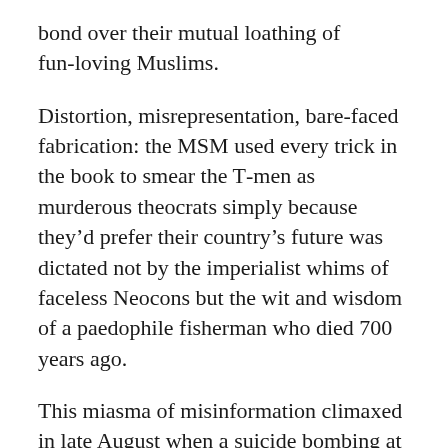bond over their mutual loathing of fun-loving Muslims.
Distortion, misrepresentation, bare-faced fabrication: the MSM used every trick in the book to smear the T-men as murderous theocrats simply because they'd prefer their country's future was dictated not by the imperialist whims of faceless Neocons but the wit and wisdom of a paedophile fisherman who died 700 years ago.
This miasma of misinformation climaxed in late August when a suicide bombing at Cabul airport was blamed on IISIS. That's right, the other set of